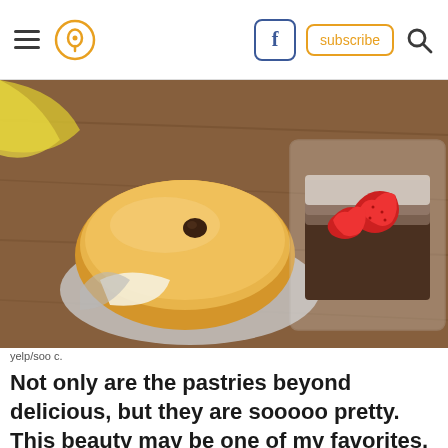[Figure (screenshot): Website navigation bar with hamburger menu, location pin icon in orange circle, Facebook icon, subscribe button in orange outline, and search magnifier icon]
[Figure (photo): Overhead photo of two bakery pastries on a wooden table: a Japanese milk bread with chocolate chip on a foil dish, and a powdered sugar dessert with strawberry in a plastic container]
yelp/soo c.
Not only are the pastries beyond delicious, but they are sooooo pretty. This beauty may be one of my favorites.
[Figure (photo): Display case with rows of tarts topped with blackberries and raspberries, partially faded/blurred at bottom with an X close button overlay]